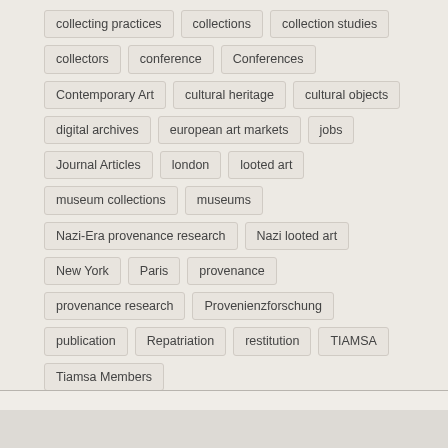collecting practices
collections
collection studies
collectors
conference
Conferences
Contemporary Art
cultural heritage
cultural objects
digital archives
european art markets
jobs
Journal Articles
london
looted art
museum collections
museums
Nazi-Era provenance research
Nazi looted art
New York
Paris
provenance
provenance research
Provenienzforschung
publication
Repatriation
restitution
TIAMSA
Tiamsa Members